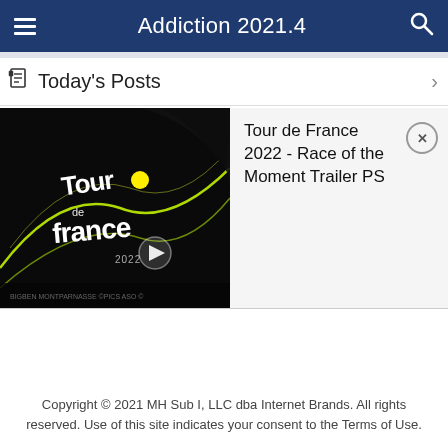Addiction 2021.4
Today's Posts
[Figure (screenshot): Tour de France 2022 game trailer thumbnail with dark background, yellow neon lines and Tour de France logo with play button]
Tour de France 2022 - Race of the Moment Trailer PS
Copyright © 2021 MH Sub I, LLC dba Internet Brands. All rights reserved. Use of this site indicates your consent to the Terms of Use.